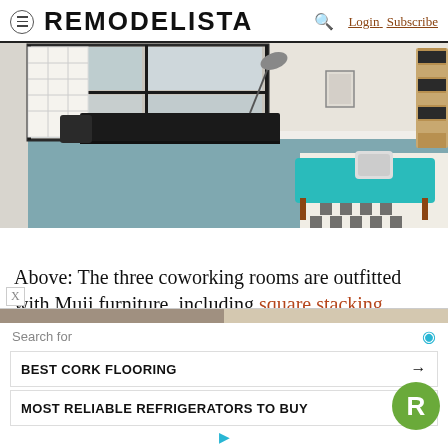REMODELISTA  Login  Subscribe
[Figure (photo): Interior photo showing a coworking space with steel-framed windows, a black desk with lamp, white grid shelving unit, and a teal mid-century bench on a black-and-white patterned tile floor, with a two-tone blue-grey and white wall divider.]
Above: The three coworking rooms are outfitted with Muji furniture, including square stacking shelves, and steel-framed windows.
[Figure (infographic): Advertisement overlay with 'Search for' label, two search rows: 'BEST CORK FLOORING' and 'MOST RELIABLE REFRIGERATORS TO BUY', with an R logo badge and eye/navigation icons.]